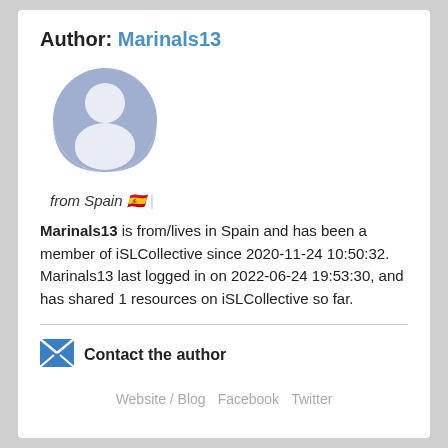Author: Marinals13
[Figure (illustration): Generic user avatar silhouette icon — circular shape with head and shoulders in muted blue/lavender color]
from Spain 🇪🇸 |
Marinals13 is from/lives in Spain and has been a member of iSLCollective since 2020-11-24 10:50:32. Marinals13 last logged in on 2022-06-24 19:53:30, and has shared 1 resources on iSLCollective so far.
[Figure (logo): Blue envelope/mail icon]
Contact the author
Website / Blog   Facebook   Twitter